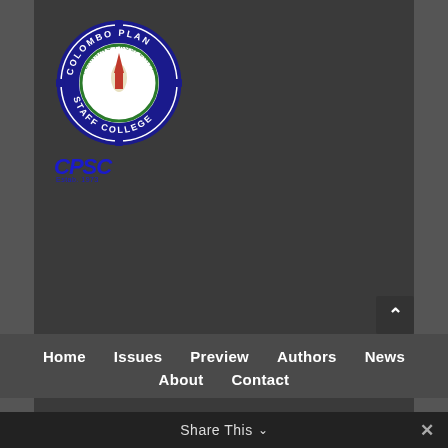[Figure (logo): Colombo Plan Staff College circular logo with gear border and CPSC text below]
Home | Issues | Preview | Authors | News | About | Contact
Copyright © 2020 TVET@Asia | About TVET@Asia | Terms & Conditions
Share This